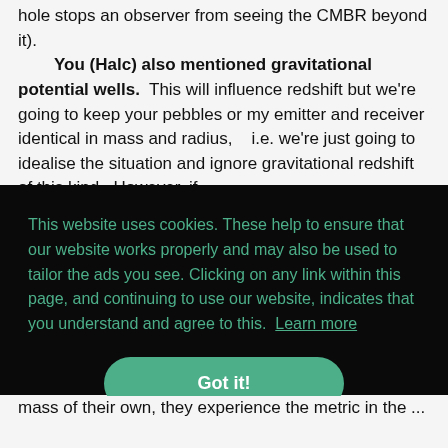hole stops an observer from seeing the CMBR beyond it). You (Halc) also mentioned gravitational potential wells. This will influence redshift but we're going to keep your pebbles or my emitter and receiver identical in mass and radius,   i.e. we're just going to idealise the situation and ignore gravitational redshift of this kind.  However, if
This website uses cookies. These help to ensure that our website works properly and may also be used to tailor the ads you see. Clicking on any link within this page, and continuing to use our website, indicates that you understand and agree to this. Learn more
Got it!
mass of their own, they experience the metric in the ...